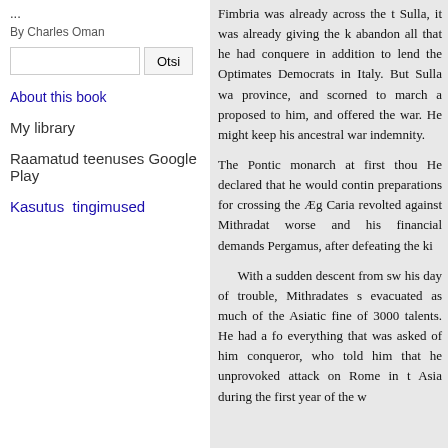...
By Charles Oman
Otsi [search button with input]
About this book
My library
Raamatud teenuses Google Play
Kasutus tingimused
Fimbria was already across the [cut off] Sulla, it was already giving the k[cut off] abandon all that he had conquere[cut off] in addition to lend the Optimates[cut off] Democrats in Italy. But Sulla wa[cut off] province, and scorned to march a[cut off] proposed to him, and offered the[cut off] war. He might keep his ancestral[cut off] war indemnity.

The Pontic monarch at first thou[cut off] He declared that he would contin[cut off] preparations for crossing the Æg[cut off] Caria revolted against Mithradat[cut off] worse and his financial demands[cut off] Pergamus, after defeating the ki[cut off]

With a sudden descent from sw[cut off] his day of trouble, Mithradates s[cut off] evacuated as much of the Asiatic[cut off] fine of 3000 talents. He had a fo[cut off] everything that was asked of him[cut off] conqueror, who told him that he[cut off] unprovoked attack on Rome in t[cut off] Asia during the first year of the w[cut off]